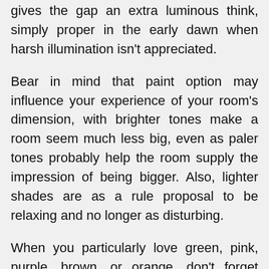gives the gap an extra luminous think, simply proper in the early dawn when harsh illumination isn't appreciated.
Bear in mind that paint option may influence your experience of your room's dimension, with brighter tones make a room seem much less big, even as paler tones probably help the room supply the impression of being bigger. Also, lighter shades are as a rule proposal to be relaxing and no longer as disturbing.
When you particularly love green, pink, purple, brown, or orange, don't forget settling on a gentle tone for the main field of the wall, with accent decor reminiscent of cushion slips to provide the subject a daring electrifying gesture you might be watching for. Lighter colors akin to beiges, or blues can more commonly be used in brighter tones